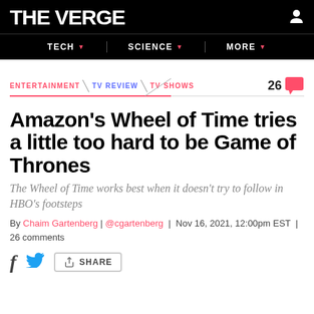THE VERGE
TECH | SCIENCE | MORE
ENTERTAINMENT \ TV REVIEW \ TV SHOWS  26 comments
Amazon's Wheel of Time tries a little too hard to be Game of Thrones
The Wheel of Time works best when it doesn't try to follow in HBO's footsteps
By Chaim Gartenberg | @cgartenberg | Nov 16, 2021, 12:00pm EST | 26 comments
SHARE